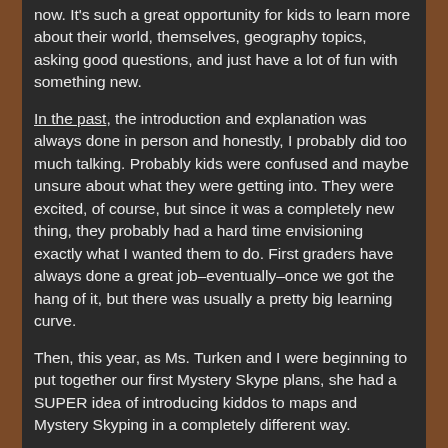now. It's such a great opportunity for kids to learn more about their world, themselves, geography topics, asking good questions, and just have a lot of fun with something new.
In the past, the introduction and explanation was always done in person and honestly, I probably did too much talking. Probably kids were confused and maybe unsure about what they were getting into. They were excited, of course, but since it was a completely new thing, they probably had a hard time envisioning exactly what I wanted them to do. First graders have always done a great job–eventually–once we got the hang of it, but there was usually a pretty big learning curve.
Then, this year, as Ms. Turken and I were beginning to put together our first Mystery Skype plans, she had a SUPER idea of introducing kiddos to maps and Mystery Skyping in a completely different way.
Rather than talk, talk, talk (which I seem to do too